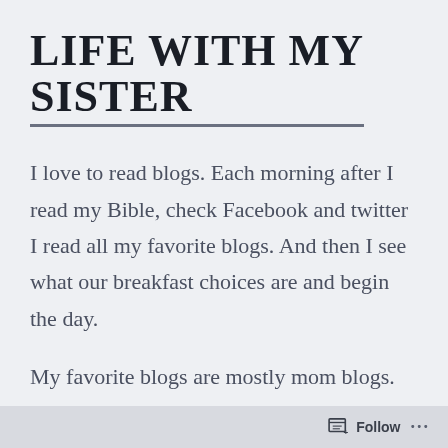LIFE WITH MY SISTER
I love to read blogs. Each morning after I read my Bible, check Facebook and twitter I read all my favorite blogs. And then I see what our breakfast choices are and begin the day.
My favorite blogs are mostly mom blogs. You know, Kelly, Bigmama, Boomama, Lots of Scotts, etc. I mostly agree with their lifestyles, we seem to have the same beliefs, and moral compass. I also read a
Follow ...